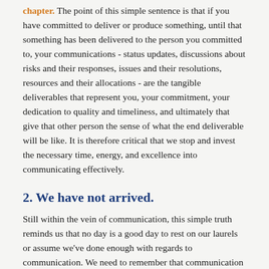chapter. The point of this simple sentence is that if you have committed to deliver or produce something, until that something has been delivered to the person you committed to, your communications - status updates, discussions about risks and their responses, issues and their resolutions, resources and their allocations - are the tangible deliverables that represent you, your commitment, your dedication to quality and timeliness, and ultimately that give that other person the sense of what the end deliverable will be like. It is therefore critical that we stop and invest the necessary time, energy, and excellence into communicating effectively.
2. We have not arrived.
Still within the vein of communication, this simple truth reminds us that no day is a good day to rest on our laurels or assume we've done enough with regards to communication. We need to remember that communication